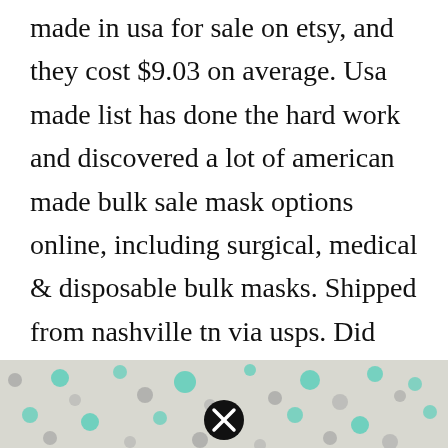made in usa for sale on etsy, and they cost $9.03 on average. Usa made list has done the hard work and discovered a lot of american made bulk sale mask options online, including surgical, medical & disposable bulk masks. Shipped from nashville tn via usps. Did you scroll all this way to get facts about face mask made in usa? Due to fabric pattern mask variations will occur.
[Figure (photo): Bottom portion of a fabric with teal/mint and grey polka dots on a light grey background, with a circular close/X button overlay in the center]